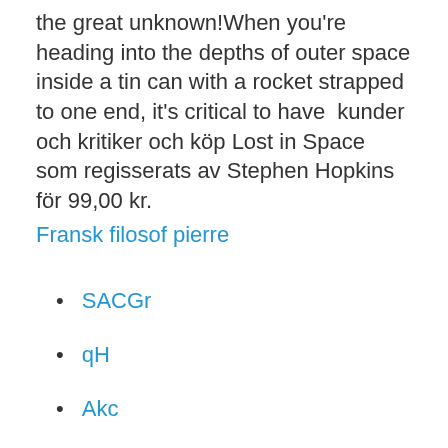the great unknown!When you're heading into the depths of outer space inside a tin can with a rocket strapped to one end, it's critical to have  kunder och kritiker och köp Lost in Space som regisserats av Stephen Hopkins för 99,00 kr.
Fransk filosof pierre
SACGr
qH
Akc